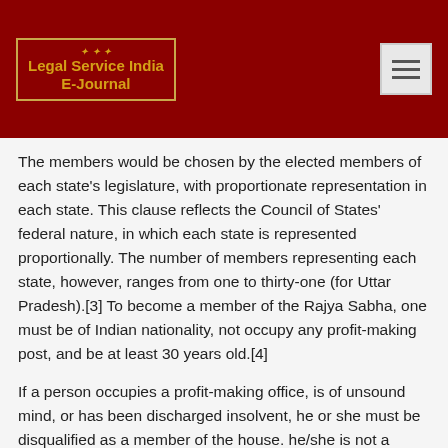[Figure (logo): Legal Service India E-Journal logo with gold border on dark red header background]
The members would be chosen by the elected members of each state's legislature, with proportionate representation in each state. This clause reflects the Council of States' federal nature, in which each state is represented proportionally. The number of members representing each state, however, ranges from one to thirty-one (for Uttar Pradesh).[3] To become a member of the Rajya Sabha, one must be of Indian nationality, not occupy any profit-making post, and be at least 30 years old.[4]
If a person occupies a profit-making office, is of unsound mind, or has been discharged insolvent, he or she must be disqualified as a member of the house. he/she is not a citizen of India and has voluntarily accepted the nationality of other nations; he/she is disqualified under any law made by the Parliament.[5]
The LokSabha shall exist and shall be composed of a maximum of 530 members chosen from various states.